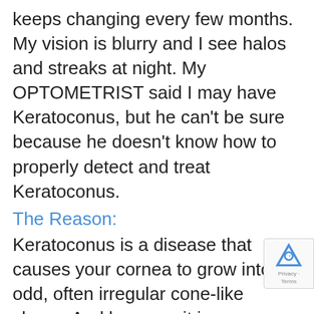keeps changing every few months. My vision is blurry and I see halos and streaks at night. My OPTOMETRIST said I may have Keratoconus, but he can’t be sure because he doesn’t know how to properly detect and treat Keratoconus.
The Reason:
Keratoconus is a disease that causes your cornea to grow into an odd, often irregular cone-like shape. And because it is a progressive disease, you need to diagnose and stop it early. Few OPTOMETRISTS have the equipment and training and experience to properly diag and treat Keratoconus.